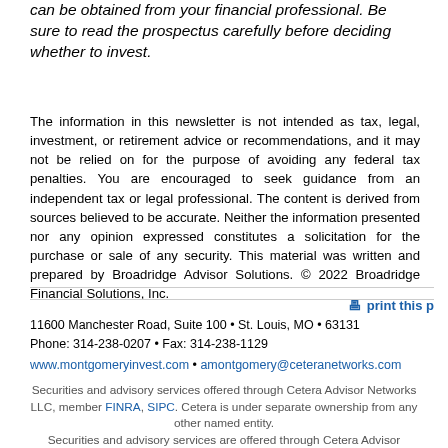can be obtained from your financial professional. Be sure to read the prospectus carefully before deciding whether to invest.
The information in this newsletter is not intended as tax, legal, investment, or retirement advice or recommendations, and it may not be relied on for the purpose of avoiding any federal tax penalties. You are encouraged to seek guidance from an independent tax or legal professional. The content is derived from sources believed to be accurate. Neither the information presented nor any opinion expressed constitutes a solicitation for the purchase or sale of any security. This material was written and prepared by Broadridge Advisor Solutions. © 2022 Broadridge Financial Solutions, Inc.
print this p
11600 Manchester Road, Suite 100 • St. Louis, MO • 63131
Phone: 314-238-0207 • Fax: 314-238-1129
www.montgomeryinvest.com • amontgomery@ceteranetworks.com
Securities and advisory services offered through Cetera Advisor Networks LLC, member FINRA, SIPC. Cetera is under separate ownership from any other named entity.
Securities and advisory services are offered through Cetera Advisor